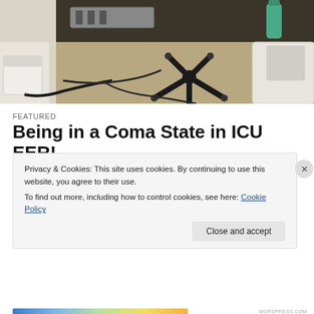[Figure (photo): Dark/moody photo of ICU or medical equipment on a desk, with cables and a rolling stool base visible]
FEATURED
Being in a Coma State in ICU EER!
Being in a Coma State in ICU (EER)!
How It Feels!
Privacy & Cookies: This site uses cookies. By continuing to use this website, you agree to their use.
To find out more, including how to control cookies, see here: Cookie Policy